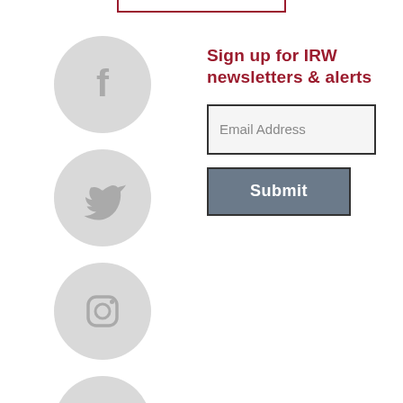[Figure (illustration): Four social media icon circles arranged vertically: Facebook (f), Twitter (bird), Instagram (camera), LinkedIn (in) — all grey circular buttons]
Sign up for IRW newsletters & alerts
Email Address
Submit